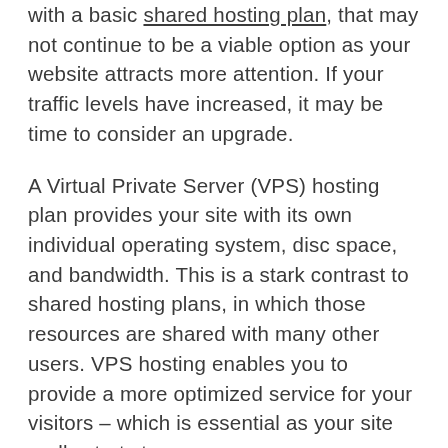with a basic shared hosting plan, that may not continue to be a viable option as your website attracts more attention. If your traffic levels have increased, it may be time to consider an upgrade.
A Virtual Private Server (VPS) hosting plan provides your site with its own individual operating system, disc space, and bandwidth. This is a stark contrast to shared hosting plans, in which those resources are shared with many other users. VPS hosting enables you to provide a more optimized service for your visitors – which is essential as your site really starts to grow.